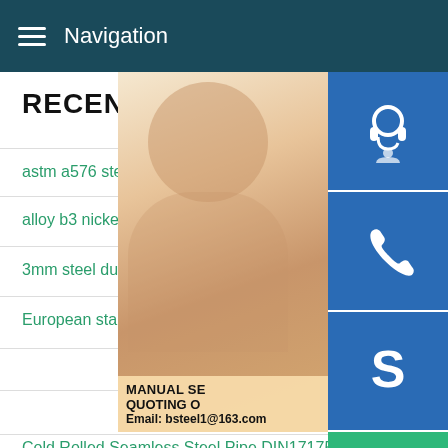Navigation
RECENT NEWS
astm a576 steel round pipe 1040 steel
alloy b3 nickel alloys stainless steel p
3mm steel durbar checker plate s
European standard S355J2 H sha
GB T 4237 0Cr26Ni5Mo2 seller
decorative laser cut corten steel screen planter
Cold Rolled Seamless Steel Pipe DIN17175 St35.8 price
[Figure (photo): Woman with headset (customer service) with overlay contact info: MANUAL SE..., QUOTING O..., Email: bsteel1@163.com]
[Figure (infographic): Blue icon boxes: headset icon, phone icon, Skype icon; green chat bubble icon; grey up-arrow button]